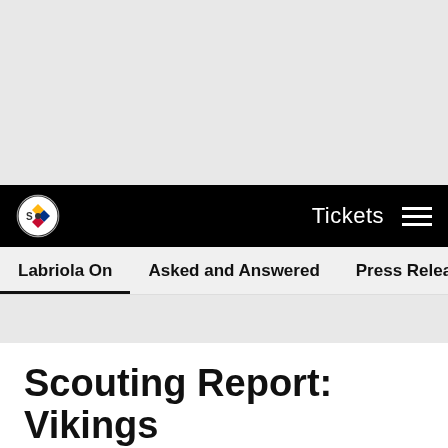[Figure (other): Gray advertisement placeholder area at top of page]
Pittsburgh Steelers navigation bar with logo, Tickets link, and hamburger menu
Sub-navigation: Labriola On | Asked and Answered | Press Releases | Game Notes
Scouting Report: Vikings
Sep 15, 2017 at 05:45 AM
[Figure (other): Social share icons: Facebook, Twitter, Email, Link]